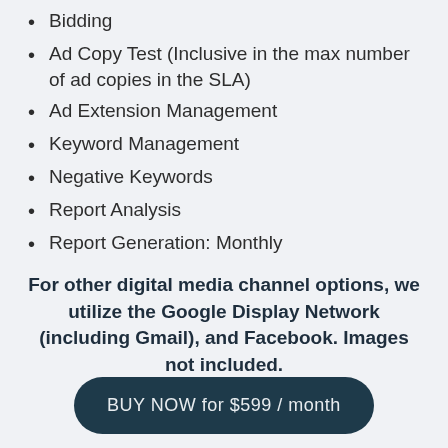Bidding
Ad Copy Test (Inclusive in the max number of ad copies in the SLA)
Ad Extension Management
Keyword Management
Negative Keywords
Report Analysis
Report Generation: Monthly
For other digital media channel options, we utilize the Google Display Network (including Gmail), and Facebook. Images not included.
BUY NOW for $599 / month